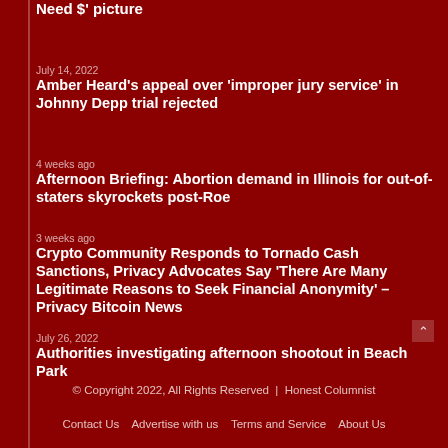Need $' picture
July 14, 2022
Amber Heard's appeal over 'improper jury service' in Johnny Depp trial rejected
4 weeks ago
Afternoon Briefing: Abortion demand in Illinois for out-of-staters skyrockets post-Roe
3 weeks ago
Crypto Community Responds to Tornado Cash Sanctions, Privacy Advocates Say 'There Are Many Legitimate Reasons to Seek Financial Anonymity' – Privacy Bitcoin News
July 26, 2022
Authorities investigating afternoon shootout in Beach Park
© Copyright 2022, All Rights Reserved  |  Honest Columnist
Contact Us   Advertise with us   Terms and Service   About Us